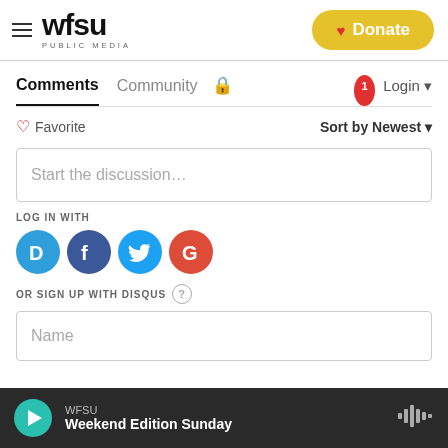[Figure (logo): WFSU Public Media logo with hamburger menu on the left and Donate button on the right]
Comments   Community   🔒   1   Login
♡ Favorite   Sort by Newest
Start the discussion…
LOG IN WITH
[Figure (infographic): Social login icons: Disqus (D), Facebook (F), Twitter bird, Google (G)]
OR SIGN UP WITH DISQUS ?
Name
WFSU Weekend Edition Sunday